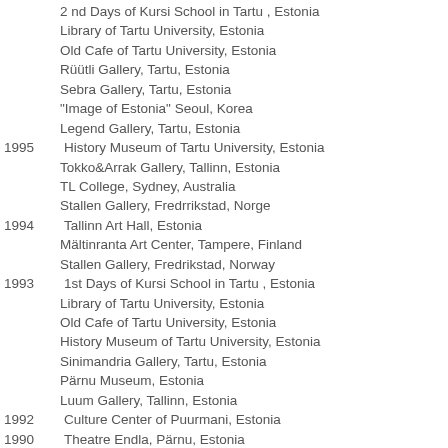2 nd Days of Kursi School in Tartu , Estonia
Library of Tartu University, Estonia
Old Cafe of Tartu University, Estonia
Rüütli Gallery, Tartu, Estonia
Sebra Gallery, Tartu, Estonia
“Image of Estonia” Seoul, Korea
Legend Gallery, Tartu, Estonia
1995 History Museum of Tartu University, Estonia
Tokko&Arrak Gallery, Tallinn, Estonia
TL College, Sydney, Australia
Stallen Gallery, Fredrrikstad, Norge
1994 Tallinn Art Hall, Estonia
Mältinranta Art Center, Tampere, Finland
Stallen Gallery, Fredrikstad, Norway
1993 1st Days of Kursi School in Tartu , Estonia
Library of Tartu University, Estonia
Old Cafe of Tartu University, Estonia
History Museum of Tartu University, Estonia
Sinimandria Gallery, Tartu, Estonia
Pärnu Museum, Estonia
Luum Gallery, Tallinn, Estonia
1992 Culture Center of Puurmani, Estonia
1990 Theatre Endla, Pärnu, Estonia